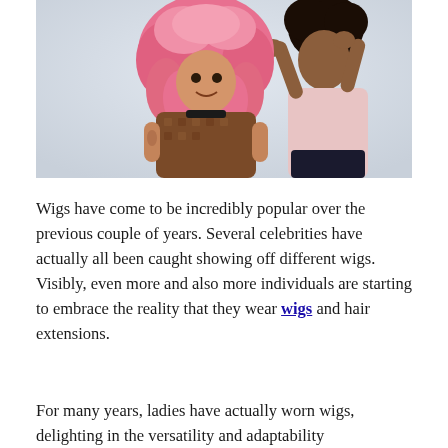[Figure (photo): A woman with a pink curly wig being styled by another woman standing behind her. The seated woman wears a brown patterned top and has tattoos on her arms. The standing woman wears a pink blouse and dark skirt. Light gray background.]
Wigs have come to be incredibly popular over the previous couple of years. Several celebrities have actually all been caught showing off different wigs. Visibly, even more and also more individuals are starting to embrace the reality that they wear wigs and hair extensions.
For many years, ladies have actually worn wigs, delighting in the versatility and adaptability